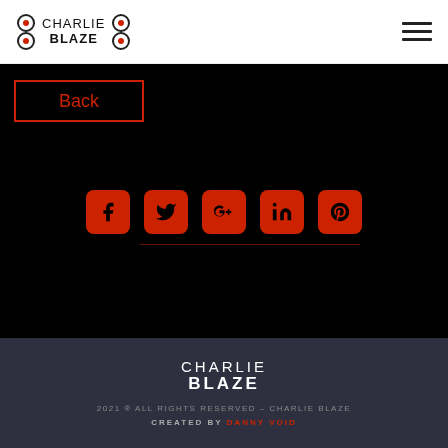CHARLIE BLAZE
Back
[Figure (infographic): Five red rounded-square social media icons in a row: Facebook, Twitter, Google+, LinkedIn, Pinterest]
CHARLIE BLAZE
2021 © ALL RIGHTS RESERVED – CHARLIE BLAZE
CREATED BY DANNY VOID